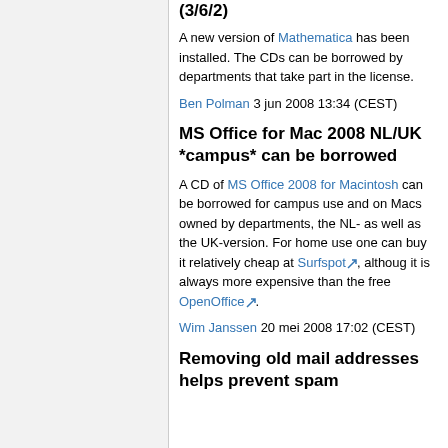(3/6/2)
A new version of Mathematica has been installed. The CDs can be borrowed by departments that take part in the license.
Ben Polman 3 jun 2008 13:34 (CEST)
MS Office for Mac 2008 NL/UK *campus* can be borrowed
A CD of MS Office 2008 for Macintosh can be borrowed for campus use and on Macs owned by departments, the NL- as well as the UK-version. For home use one can buy it relatively cheap at Surfspot, althoug it is always more expensive than the free OpenOffice.
Wim Janssen 20 mei 2008 17:02 (CEST)
Removing old mail addresses helps prevent spam